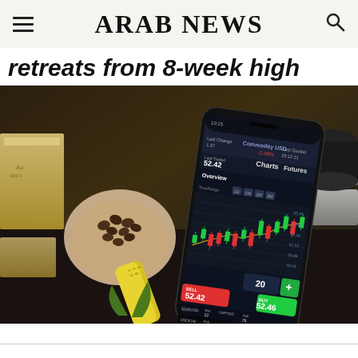ARAB NEWS
retreats from 8-week high
[Figure (photo): A smartphone displaying a commodity trading app with candlestick charts showing prices around 52.42, surrounded by physical commodities: gold bars, silver bars, coffee beans, and corn cobs on a dark surface.]